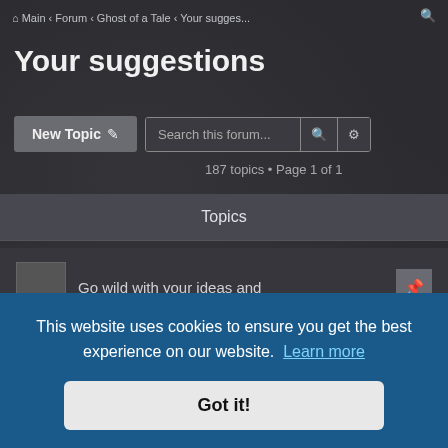Main › Forum › Ghost of a Tale › Your sugges...
Your suggestions
New Topic ✏
Search this forum...
187 topics • Page 1 of 1
Topics
Go wild with your ideas and
This website uses cookies to ensure you get the best experience on our website. Learn more
Got it!